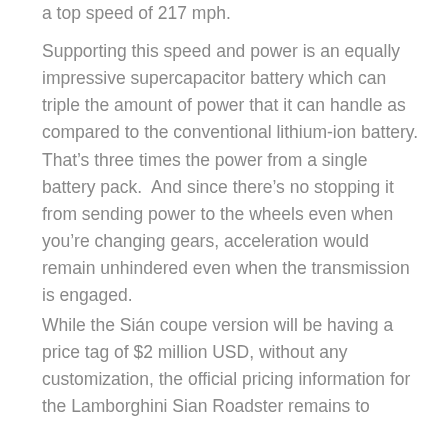a top speed of 217 mph.
Supporting this speed and power is an equally impressive supercapacitor battery which can triple the amount of power that it can handle as compared to the conventional lithium-ion battery. That’s three times the power from a single battery pack.  And since there’s no stopping it from sending power to the wheels even when you’re changing gears, acceleration would remain unhindered even when the transmission is engaged.
While the Sián coupe version will be having a price tag of $2 million USD, without any customization, the official pricing information for the Lamborghini Sian Roadster remains to